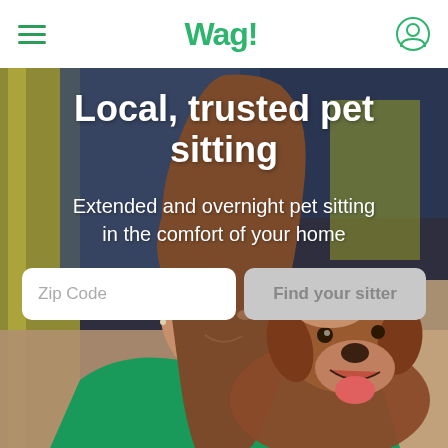Wag! navigation bar with hamburger menu and user icon
[Figure (photo): A woman in a green Wag! t-shirt smiling and petting a brown dog (appears to be a Labrador or similar breed) while sitting on a couch. The background shows a blurred indoor setting with yellow curtains and blue/gray walls.]
Local, trusted pet sitting
Extended and overnight pet sitting in the comfort of your home
Zip Code | Find your sitter